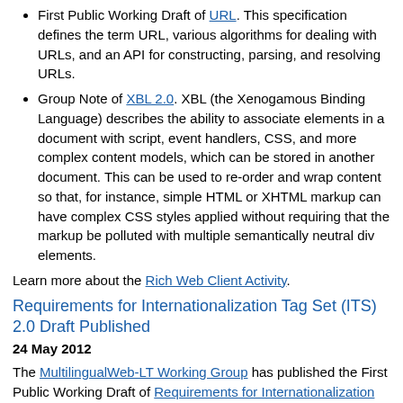First Public Working Draft of URL. This specification defines the term URL, various algorithms for dealing with URLs, and an API for constructing, parsing, and resolving URLs.
Group Note of XBL 2.0. XBL (the Xenogamous Binding Language) describes the ability to associate elements in a document with script, event handlers, CSS, and more complex content models, which can be stored in another document. This can be used to re-order and wrap content so that, for instance, simple HTML or XHTML markup can have complex CSS styles applied without requiring that the markup be polluted with multiple semantically neutral div elements.
Learn more about the Rich Web Client Activity.
Requirements for Internationalization Tag Set (ITS) 2.0 Draft Published
24 May 2012
The MultilingualWeb-LT Working Group has published the First Public Working Draft of Requirements for Internationalization Tag Set (ITS) 2.0. This document gathers metadata categories – essentially items like ways to indicate whether or not specific text should be translated, support for machine translation, and so forth